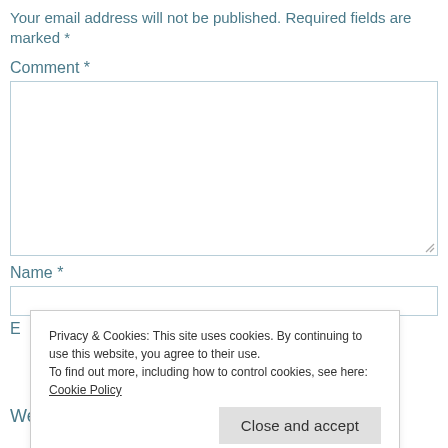Your email address will not be published. Required fields are marked *
Comment *
[Figure (screenshot): Large textarea input box for comment field]
Name *
[Figure (screenshot): Single-line text input box for name field]
E
Website
Privacy & Cookies: This site uses cookies. By continuing to use this website, you agree to their use.
To find out more, including how to control cookies, see here: Cookie Policy
Close and accept